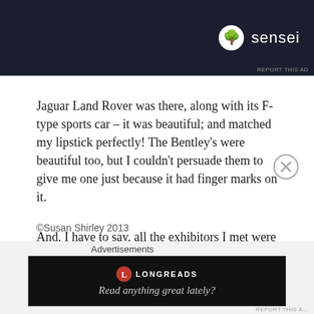[Figure (other): Sensei advertisement banner — dark navy background with Sensei tree logo and brand name in white]
Jaguar Land Rover was there, along with its F-type sports car – it was beautiful; and matched my lipstick perfectly!  The Bentley's were beautiful too, but I couldn't persuade them to give me one just because it had finger marks on it.
And, I have to say, all the exhibitors I met were absolutely charming and great fun too.  Thank you to everyone for a fantastic time.
©Susan Shirley 2013
Advertisements
[Figure (other): Longreads advertisement — black banner with Longreads logo and tagline 'Read anything great lately?']